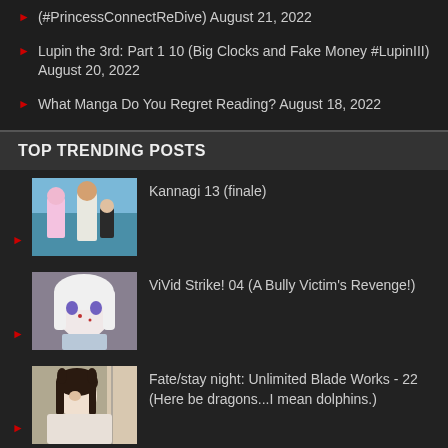(#PrincessConnectReDive) August 21, 2022
Lupin the 3rd: Part 1 10 (Big Clocks and Fake Money #LupinIII) August 20, 2022
What Manga Do You Regret Reading? August 18, 2022
TOP TRENDING POSTS
Kannagi 13 (finale)
ViVid Strike! 04 (A Bully Victim's Revenge!)
Fate/stay night: Unlimited Blade Works - 22 (Here be dragons...I mean dolphins.)
Today's Menu for Emiya Family 07 (Volleyball